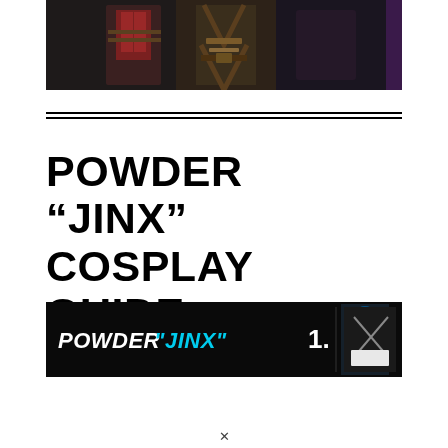[Figure (photo): Dark background photo showing cosplay costume elements including a red and white jacket on the left and brown leather harness/costume on the right]
POWDER “JINX” COSPLAY GUIDE
[Figure (screenshot): Dark banner image with text POWDER JINX in white and cyan, with number 1. and images of a blue-haired figure and a costume on a mannequin]